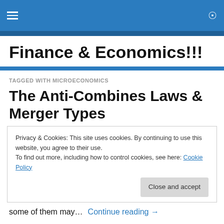Finance & Economics!!!
Finance & Economics!!!
TAGGED WITH MICROECONOMICS
The Anti-Combines Laws & Merger Types
Privacy & Cookies: This site uses cookies. By continuing to use this website, you agree to their use.
To find out more, including how to control cookies, see here: Cookie Policy
Close and accept
some of them may…   Continue reading →